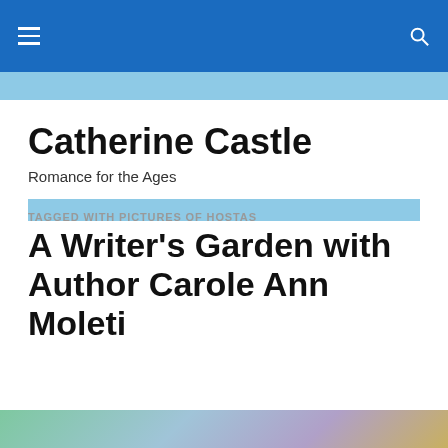Catherine Castle — Navigation bar
Catherine Castle
Romance for the Ages
TAGGED WITH PICTURES OF HOSTAS
A Writer's Garden with Author Carole Ann Moleti
Privacy & Cookies: This site uses cookies. By continuing to use this website, you agree to their use.
To find out more, including how to control cookies, see here: Cookie Policy
Close and accept